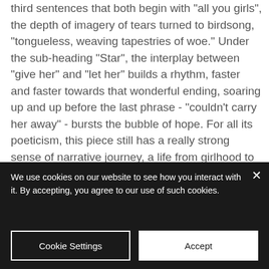third sentences that both begin with "all you girls", the depth of imagery of tears turned to birdsong, "tongueless, weaving tapestries of woe." Under the sub-heading "Star", the interplay between "give her" and "let her" builds a rhythm, faster and faster towards that wonderful ending, soaring up and up before the last phrase - "couldn't carry her away" - bursts the bubble of hope. For all its poeticism, this piece still has a really strong sense of narrative journey, a life from girlhood to woman "[flung] into the heavens." It has a universality about it and a wonderful emotional
We use cookies on our website to see how you interact with it. By accepting, you agree to our use of such cookies.
Cookie Settings
Accept